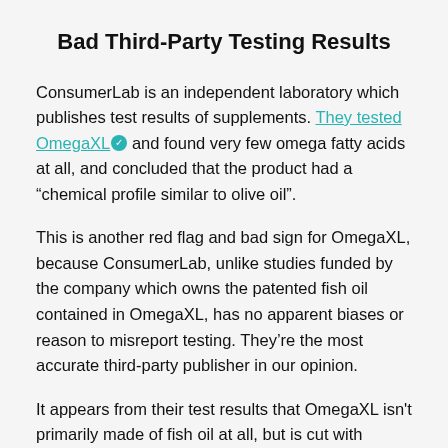Bad Third-Party Testing Results
ConsumerLab is an independent laboratory which publishes test results of supplements. They tested OmegaXL ✓ and found very few omega fatty acids at all, and concluded that the product had a “chemical profile similar to olive oil”.
This is another red flag and bad sign for OmegaXL, because ConsumerLab, unlike studies funded by the company which owns the patented fish oil contained in OmegaXL, has no apparent biases or reason to misreport testing. They’re the most accurate third-party publisher in our opinion.
It appears from their test results that OmegaXL isn't primarily made of fish oil at all, but is cut with cheaper oils so the